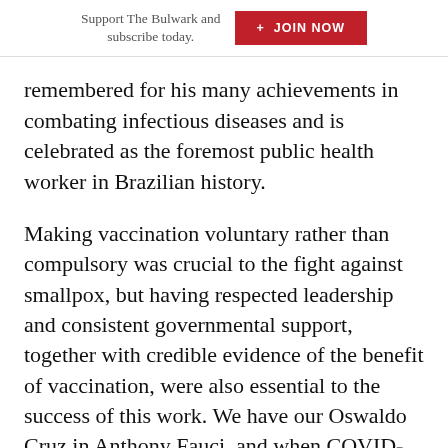Support The Bulwark and subscribe today. + JOIN NOW
remembered for his many achievements in combating infectious diseases and is celebrated as the foremost public health worker in Brazilian history.
Making vaccination voluntary rather than compulsory was crucial to the fight against smallpox, but having respected leadership and consistent governmental support, together with credible evidence of the benefit of vaccination, were also essential to the success of this work. We have our Oswaldo Cruz in Anthony Fauci, and when COVID-19 vaccines are available their use